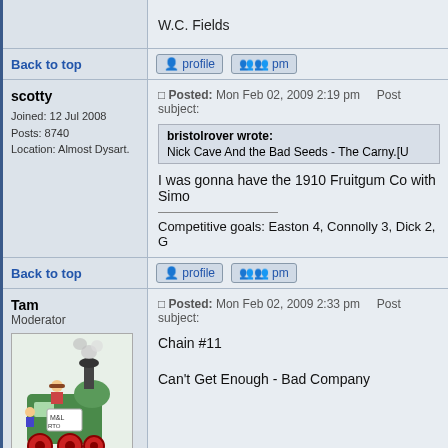W.C. Fields
Back to top
scotty
Joined: 12 Jul 2008
Posts: 8740
Location: Almost Dysart.
Posted: Mon Feb 02, 2009 2:19 pm    Post subject:
bristolrover wrote:
Nick Cave And the Bad Seeds - The Carny.[U
I was gonna have the 1910 Fruitgum Co with Simo
Competitive goals: Easton 4, Connolly 3, Dick 2, G
Back to top
Tam
Moderator
Joined: 06 Jul 2008
Posts: 6327
Posted: Mon Feb 02, 2009 2:33 pm    Post subject:
Chain #11
Can't Get Enough - Bad Company